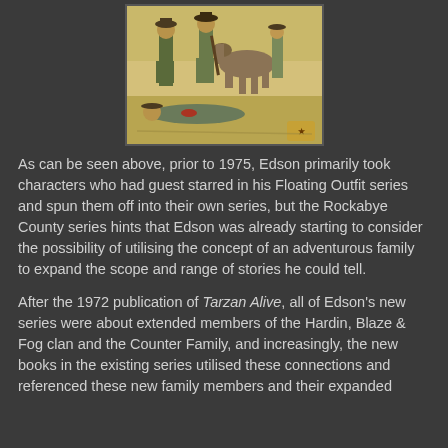[Figure (illustration): A vintage illustration depicting a western scene with cowboys standing over a fallen figure on the ground, with a horse in the background.]
As can be seen above, prior to 1975, Edson primarily took characters who had guest starred in his Floating Outfit series and spun them off into their own series, but the Rockabye County series hints that Edson was already starting to consider the possibility of utilising the concept of an adventurous family to expand the scope and range of stories he could tell.
After the 1972 publication of Tarzan Alive, all of Edson's new series were about extended members of the Hardin, Blaze & Fog clan and the Counter Family, and increasingly, the new books in the existing series utilised these connections and referenced these new family members and their expanded